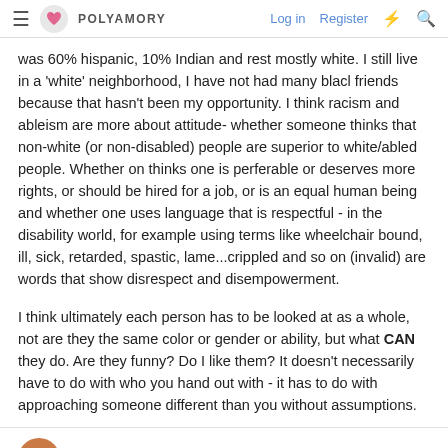POLYAMORY | Log in | Register
was 60% hispanic, 10% Indian and rest mostly white. I still live in a 'white' neighborhood, I have not had many blacl friends because that hasn't been my opportunity. I think racism and ableism are more about attitude- whether someone thinks that non-white (or non-disabled) people are superior to white/abled people. Whether on thinks one is perferable or deserves more rights, or should be hired for a job, or is an equal human being and whether one uses language that is respectful - in the disability world, for example using terms like wheelchair bound, ill, sick, retarded, spastic, lame...crippled and so on (invalid) are words that show disrespect and disempowerment.
I think ultimately each person has to be looked at as a whole, not are they the same color or gender or ability, but what CAN they do. Are they funny? Do I like them? It doesn't necessarily have to do with who you hand out with - it has to do with approaching someone different than you without assumptions.
nondy2